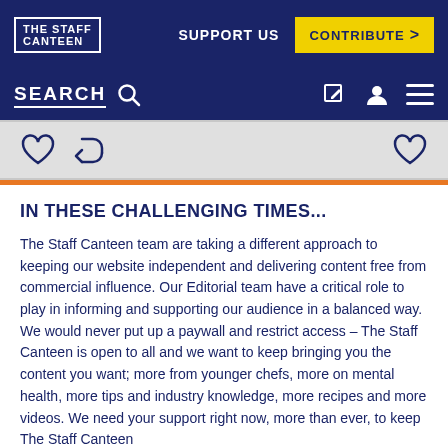THE STAFF CANTEEN | SUPPORT US | CONTRIBUTE >
SEARCH
[Figure (screenshot): Social interaction icons row: heart icon, reply/share icon on left; heart icon on right, on grey background]
IN THESE CHALLENGING TIMES...
The Staff Canteen team are taking a different approach to keeping our website independent and delivering content free from commercial influence. Our Editorial team have a critical role to play in informing and supporting our audience in a balanced way. We would never put up a paywall and restrict access – The Staff Canteen is open to all and we want to keep bringing you the content you want; more from younger chefs, more on mental health, more tips and industry knowledge, more recipes and more videos. We need your support right now, more than ever, to keep The Staff Canteen